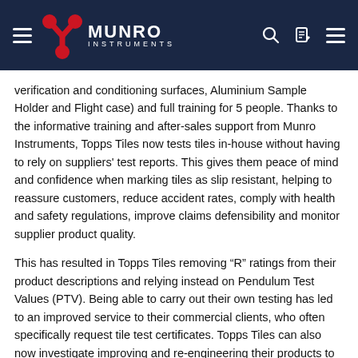Munro Instruments
verification and conditioning surfaces, Aluminium Sample Holder and Flight case) and full training for 5 people. Thanks to the informative training and after-sales support from Munro Instruments, Topps Tiles now tests tiles in-house without having to rely on suppliers' test reports. This gives them peace of mind and confidence when marking tiles as slip resistant, helping to reassure customers, reduce accident rates, comply with health and safety regulations, improve claims defensibility and monitor supplier product quality.
This has resulted in Topps Tiles removing “R” ratings from their product descriptions and relying instead on Pendulum Test Values (PTV). Being able to carry out their own testing has led to an improved service to their commercial clients, who often specifically request tile test certificates. Topps Tiles can also now investigate improving and re-engineering their products to make them more slip resistant.
Topps Tiles new approach on their website and in stores involves